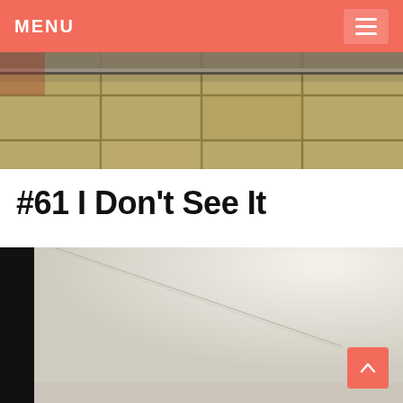MENU
[Figure (photo): Close-up photo of yellow/tan ceramic tiles with a metal fixture or ledge visible at the top, warm-lit indoor scene]
#61 I Don't See It
[Figure (photo): Close-up photo of a white or off-white surface, possibly a tabletop or sheet, with a thin crease or fold visible; black strip on the left edge]